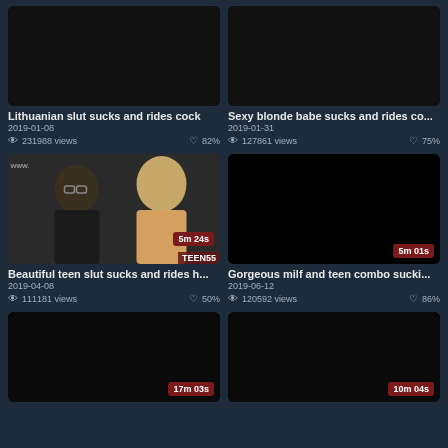[Figure (screenshot): Video thumbnail grid showing adult video listings with thumbnails, titles, dates, view counts and ratings]
Lithuanian slut sucks and rides cock
2019-01-08 | 231988 views | 82%
[Figure (photo): Video thumbnail showing a man and blonde woman]
Beautiful teen slut sucks and rides h...
2019-04-08 | 111181 views | 50%
[Figure (photo): Black video thumbnail with duration 5m 01s]
Sexy blonde babe sucks and rides co...
2019-01-31 | 127861 views | 75%
Gorgeous milf and teen combo sucki...
2019-06-12 | 120592 views | 86%
[Figure (photo): Black video thumbnail with duration 17m 03s]
[Figure (photo): Black video thumbnail with duration 10m 04s]